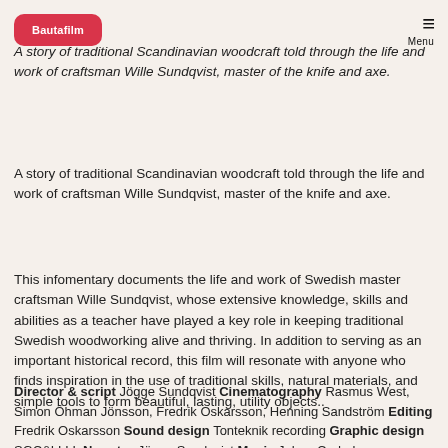Bautafilm | Menu
A story of traditional Scandinavian woodcraft told through the life and work of craftsman Wille Sundqvist, master of the knife and axe.
A story of traditional Scandinavian woodcraft told through the life and work of craftsman Wille Sundqvist, master of the knife and axe.
This infomentary documents the life and work of Swedish master craftsman Wille Sundqvist, whose extensive knowledge, skills and abilities as a teacher have played a key role in keeping traditional Swedish woodworking alive and thriving. In addition to serving as an important historical record, this film will resonate with anyone who finds inspiration in the use of traditional skills, natural materials, and simple tools to form beautiful, lasting, utility objects..
Director & script Jögge Sundqvist Cinematography Rasmus West, Simon Öhman Jönsson, Fredrik Oskarsson, Henning Sandström Editing Fredrik Oskarsson Sound design Tonteknik recording Graphic design SGC&LLLL Narrator Jögge Sundqvist Music Johan Cederberg Production S.u.r.o.l.l.e c/o